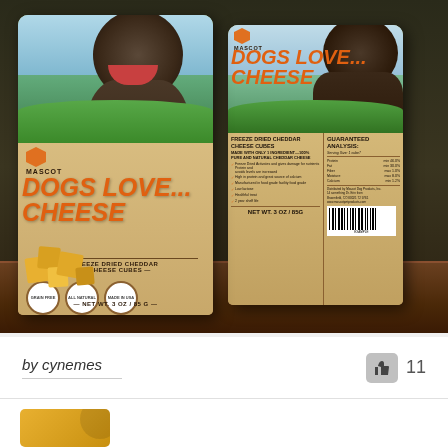[Figure (photo): Product packaging photo showing front and back of 'Mascot Dogs Love... Cheese' freeze dried cheddar cheese cubes dog treat bag (NET WT. 3 OZ / 85G), with a happy pitbull dog on the packaging, displayed on a wooden surface. The back panel shows Guaranteed Analysis and product information.]
by cynemes
11